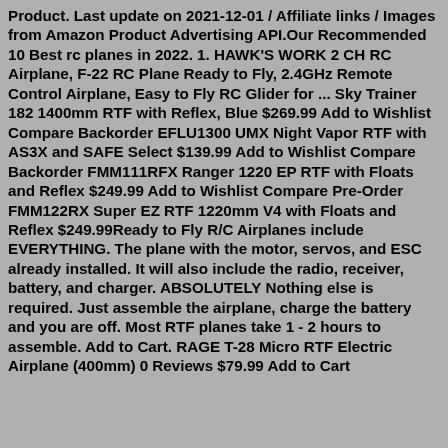Product. Last update on 2021-12-01 / Affiliate links / Images from Amazon Product Advertising API.Our Recommended 10 Best rc planes in 2022. 1. HAWK'S WORK 2 CH RC Airplane, F-22 RC Plane Ready to Fly, 2.4GHz Remote Control Airplane, Easy to Fly RC Glider for ... Sky Trainer 182 1400mm RTF with Reflex, Blue $269.99 Add to Wishlist Compare Backorder EFLU1300 UMX Night Vapor RTF with AS3X and SAFE Select $139.99 Add to Wishlist Compare Backorder FMM111RFX Ranger 1220 EP RTF with Floats and Reflex $249.99 Add to Wishlist Compare Pre-Order FMM122RX Super EZ RTF 1220mm V4 with Floats and Reflex $249.99Ready to Fly R/C Airplanes include EVERYTHING. The plane with the motor, servos, and ESC already installed. It will also include the radio, receiver, battery, and charger. ABSOLUTELY Nothing else is required. Just assemble the airplane, charge the battery and you are off. Most RTF planes take 1 - 2 hours to assemble. Add to Cart. RAGE T-28 Micro RTF Electric Airplane (400mm) 0 Reviews $79.99 Add to Cart